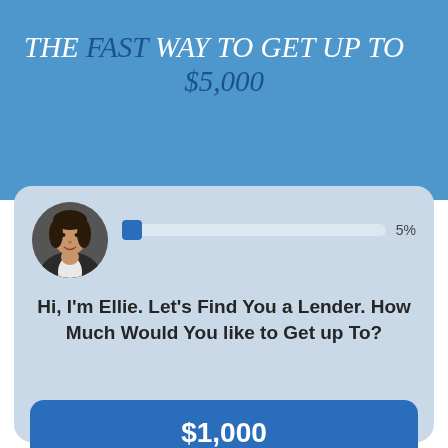THE FAST WAY TO GET UP TO $5,000
[Figure (screenshot): UI screenshot of a loan-finder chatbot interface. Shows a circular avatar photo of a woman (Ellie), a progress bar at 5%, the question 'Hi, I'm Ellie. Let's Find You a Lender. How Much Would You like to Get up To?', and blue buttons for $1,000 and $2,000 loan amounts. A 'Schedule time with a BailRep' button overlays the bottom right.]
Hi, I'm Ellie. Let's Find You a Lender. How Much Would You like to Get up To?
$1,000
$2,000
Schedule time with a BailRep